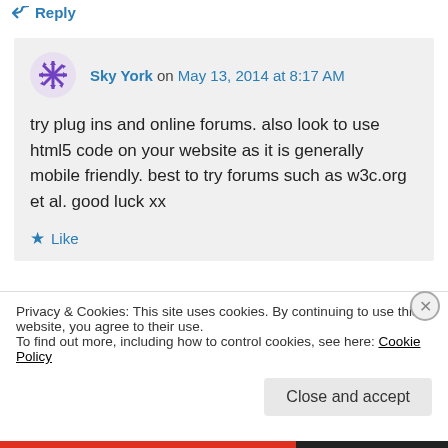↪ Reply
Sky York on May 13, 2014 at 8:17 AM
try plug ins and online forums. also look to use html5 code on your website as it is generally mobile friendly. best to try forums such as w3c.org et al. good luck xx
★ Like
↪ Reply
Privacy & Cookies: This site uses cookies. By continuing to use this website, you agree to their use.
To find out more, including how to control cookies, see here: Cookie Policy
Close and accept